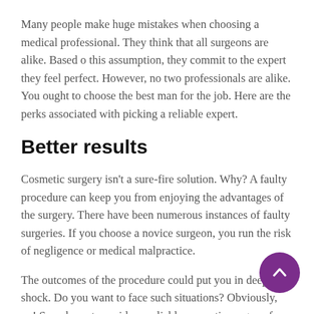Many people make huge mistakes when choosing a medical professional. They think that all surgeons are alike. Based o this assumption, they commit to the expert they feel perfect. However, no two professionals are alike. You ought to choose the best man for the job. Here are the perks associated with picking a reliable expert.
Better results
Cosmetic surgery isn't a sure-fire solution. Why? A faulty procedure can keep you from enjoying the advantages of the surgery. There have been numerous instances of faulty surgeries. If you choose a novice surgeon, you run the risk of negligence or medical malpractice.
The outcomes of the procedure could put you in deep shock. Do you want to face such situations? Obviously, no! So, why not consider a reliable cosmetic surgeon for the job? A respected